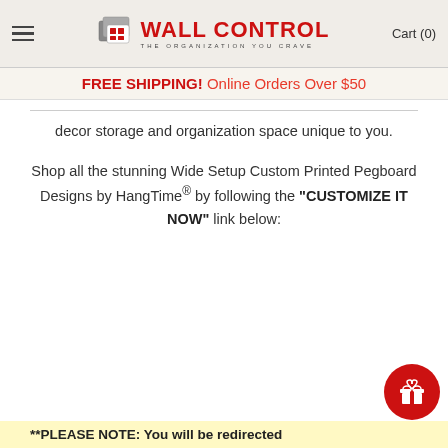Wall Control — THE ORGANIZATION YOU CRAVE | Cart (0)
FREE SHIPPING! Online Orders Over $50
decor storage and organization space unique to you.
Shop all the stunning Wide Setup Custom Printed Pegboard Designs by HangTime® by following the "CUSTOMIZE IT NOW" link below:
**PLEASE NOTE: You will be redirected